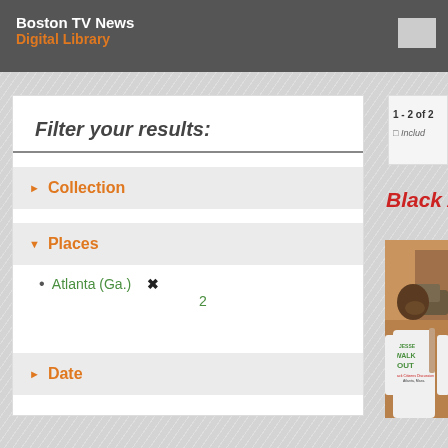Boston TV News Digital Library
Filter your results:
▶ Collection
▼ Places
Atlanta (Ga.) ✕  2
▶ Date
1 - 2 of 2  ☐ Include
Black Atla…
[Figure (photo): Woman in white t-shirt reading 'JESSE WALK OUT - Black Citizens Discussion, Atlanta, Mass.' smiling outdoors]